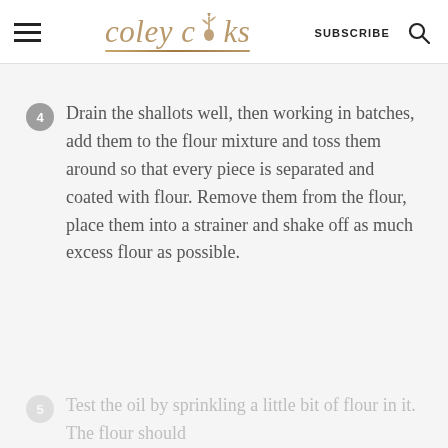coley cooks — SUBSCRIBE
4 Drain the shallots well, then working in batches, add them to the flour mixture and toss them around so that every piece is separated and coated with flour. Remove them from the flour, place them into a strainer and shake off as much excess flour as possible.
5 Test the oil by sprinkling a little bit of flour in it. The flour should